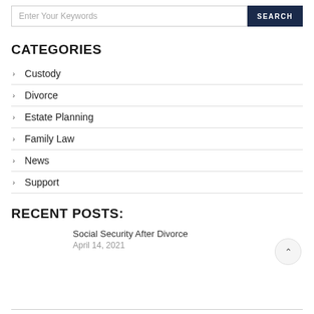Enter Your Keywords
CATEGORIES
Custody
Divorce
Estate Planning
Family Law
News
Support
RECENT POSTS:
Social Security After Divorce
April 14, 2021